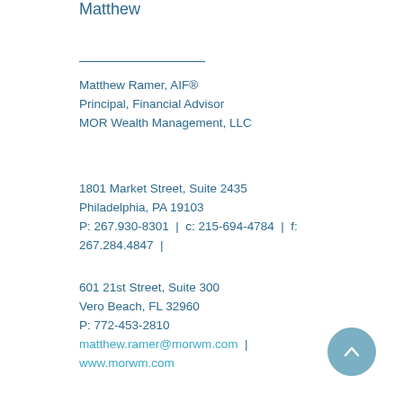Matthew
Matthew Ramer, AIF®
Principal, Financial Advisor
MOR Wealth Management, LLC
1801 Market Street, Suite 2435
Philadelphia, PA 19103
P: 267.930-8301  |  c: 215-694-4784  |  f: 267.284.4847  |
601 21st Street, Suite 300
Vero Beach, FL 32960
P: 772-453-2810
matthew.ramer@morwm.com  |  www.morwm.com